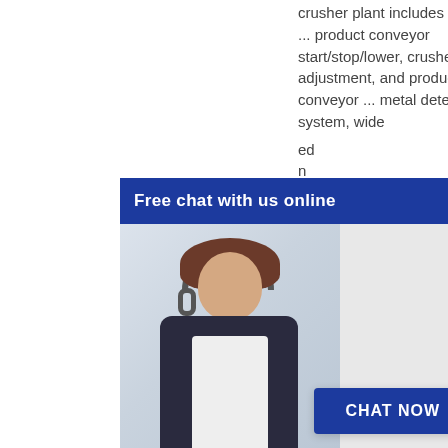crusher plant includes a screen ... product conveyor start/stop/lower, crusher adjustment, and product conveyor ... metal detection system, wide
ed n se...
Price
Jaw Crusher Information - Aggregate Designs
Jaw Crusher Adjustment: Closed Side Opening Shims ... the jaw crusher
[Figure (screenshot): Live chat popup widget with blue header reading 'Free chat with us online', close X button, image of smiling woman wearing headset, and 'CHAT NOW' button in dark blue.]